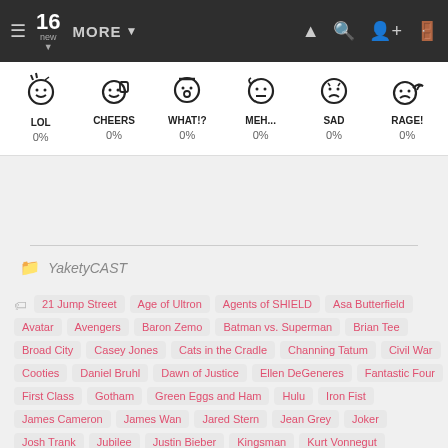What's your reaction? | 16 new | MORE
[Figure (infographic): Reaction buttons: LOL 0%, CHEERS 0%, WHAT!? 0%, MEH... 0%, SAD 0%, RAGE! 0%]
YaketyCAST
21 Jump Street, Age of Ultron, Agents of SHIELD, Asa Butterfield, Avatar, Avengers, Baron Zemo, Batman vs. Superman, Brian Tee, Broad City, Casey Jones, Cats in the Cradle, Channing Tatum, Civil War, Cooties, Daniel Bruhl, Dawn of Justice, Ellen DeGeneres, Fantastic Four, First Class, Gotham, Green Eggs and Ham, Hulu, Iron Fist, James Cameron, James Wan, Jared Stern, Jean Grey, Joker, Josh Trank, Jubilee, Justin Bieber, Kingsman, Kurt Vonnegut, Last Witch Hunter, Legend, Levar Burton, Matt Smith, Megan Fox, Netflix, New Coke, Nightcrawler, Patch Town, Paul Wernick, Power Rangers, Rhett Resse, Rihanna, Robotech, Pants